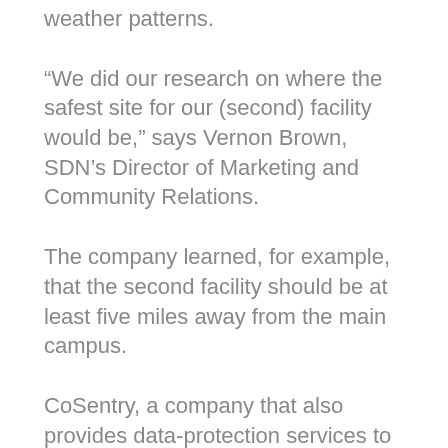weather patterns.
“We did our research on where the safest site for our (second) facility would be,” says Vernon Brown, SDN’s Director of Marketing and Community Relations.
The company learned, for example, that the second facility should be at least five miles away from the main campus.
CoSentry, a company that also provides data-protection services to clients, was the first major tenant at the SDN Data Center.
SDN CEO Mark Shlanta envisions additional data centers being developed on SDN’s 65-acre tract, either by the company or possibly other businesses.
And SDN isn’t the only company that sees Sioux Falls for